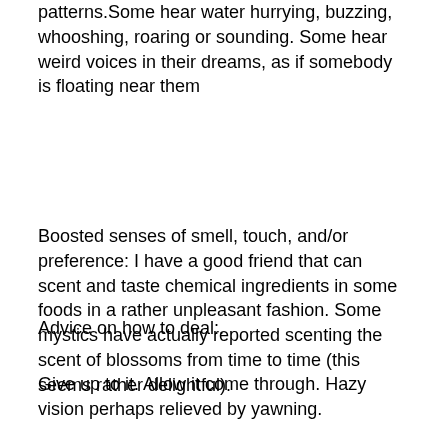patterns.Some hear water hurrying, buzzing, whooshing, roaring or sounding. Some hear weird voices in their dreams, as if somebody is floating near them
Boosted senses of smell, touch, and/or preference: I have a good friend that can scent and taste chemical ingredients in some foods in a rather unpleasant fashion. Some mystics have actually reported scenting the scent of blossoms from time to time (this seems rather delightful).
Advice on how to deal:.
Give up to it. Allow it come through. Hazy vision perhaps relieved by yawning.